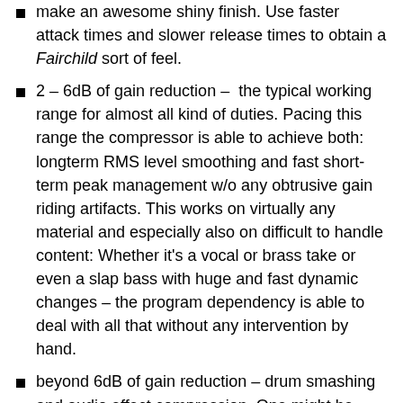make an awesome shiny finish. Use faster attack times and slower release times to obtain a Fairchild sort of feel.
2 – 6dB of gain reduction –  the typical working range for almost all kind of duties. Pacing this range the compressor is able to achieve both: longterm RMS level smoothing and fast short-term peak management w/o any obtrusive gain riding artifacts. This works on virtually any material and especially also on difficult to handle content: Whether it's a vocal or brass take or even a slap bass with huge and fast dynamic changes – the program dependency is able to deal with all that without any intervention by hand.
beyond 6dB of gain reduction – drum smashing and audio effect compression. One might be concerned with deeper gain riding affairs in other compressor